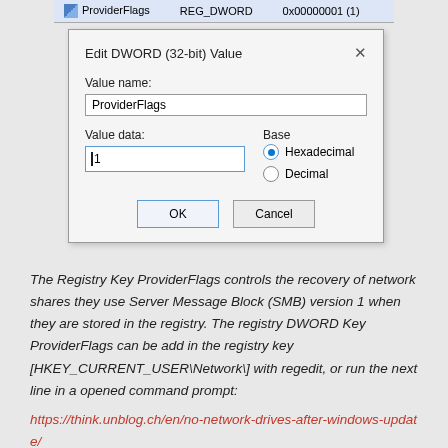[Figure (screenshot): Windows Registry Editor showing ProviderFlags entry with REG_DWORD type and value 0x00000001 (1), and an 'Edit DWORD (32-bit) Value' dialog box with value name 'ProviderFlags', value data '1', base set to Hexadecimal, with OK and Cancel buttons.]
The Registry Key ProviderFlags controls the recovery of network shares they use Server Message Block (SMB) version 1 when they are stored in the registry. The registry DWORD Key ProviderFlags can be add in the registry key [HKEY_CURRENT_USER\Network\] with regedit, or run the next line in a opened command prompt:
https://think.unblog.ch/en/no-network-drives-after-windows-update/